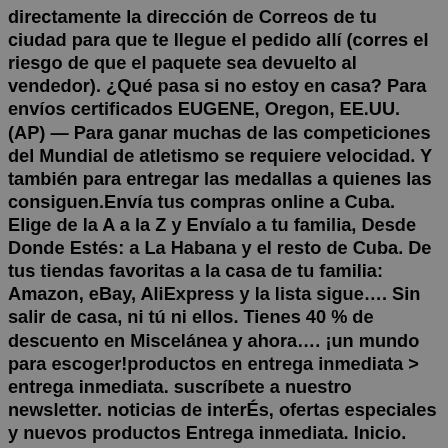directamente la dirección de Correos de tu ciudad para que te llegue el pedido allí (corres el riesgo de que el paquete sea devuelto al vendedor). ¿Qué pasa si no estoy en casa? Para envíos certificados EUGENE, Oregon, EE.UU. (AP) — Para ganar muchas de las competiciones del Mundial de atletismo se requiere velocidad. Y también para entregar las medallas a quienes las consiguen.Envía tus compras online a Cuba. Elige de la A a la Z y Envíalo a tu familia, Desde Donde Estés: a La Habana y el resto de Cuba. De tus tiendas favoritas a la casa de tu familia: Amazon, eBay, AliExpress y la lista sigue…. Sin salir de casa, ni tú ni ellos. Tienes 40 % de descuento en Miscelánea y ahora…. ¡un mundo para escoger!productos en entrega inmediata > entrega inmediata. suscríbete a nuestro newsletter. noticias de interÉs, ofertas especiales y nuevos productos Entrega inmediata. Inicio. Entrega inmediata. Solicita tus uniformes ¿Alguna pregunta? Escríbanos a contacto@spiro.mx Pago seguro con tarjeta de crédito Medalla del Mundial de atletismo...